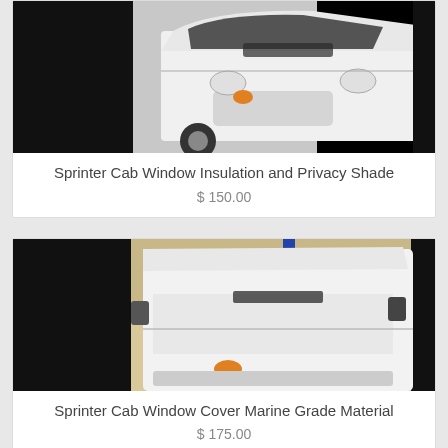[Figure (photo): White Sprinter van photographed from the front-left angle, showing the cab windows, in a garage/warehouse setting with black background borders on sides]
Sprinter Cab Window Insulation and Privacy Shade
$ 150.00
[Figure (photo): White high-roof Sprinter van photographed from the front-left angle showing the full cab area wrapped in white cover material, inside a garage with blue lift visible in background, black borders on sides]
Sprinter Cab Window Cover Marine Grade Material
$ 175.00